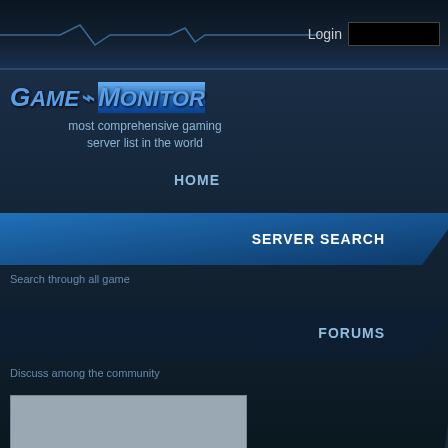Login
[Figure (logo): Game Monitor logo with pulse/heartbeat line between words, blue metallic styling]
most comprehensive gaming server list in the world
HOME
SERVER SEARCH
Search through all game servers
FORUMS
Discuss among the community
QUICK SEARCH
Server With:
Playing: DayZ Epoch Chern
Servers per page: 30
DAYZ EPOCH CHERNAR
« Prev  1
| Server Name |
| --- |
| 121 | [RU] Dayzer.ru Zombiland S. |
| 122 | [RU] Zombila.ru S.T.A.L.K.E. |
| 123 | Official Origins Mod #LFS DE |
| 124 | Dead Center Gaming: Overp |
| 125 | Official Origins Mod #LFS 30 |